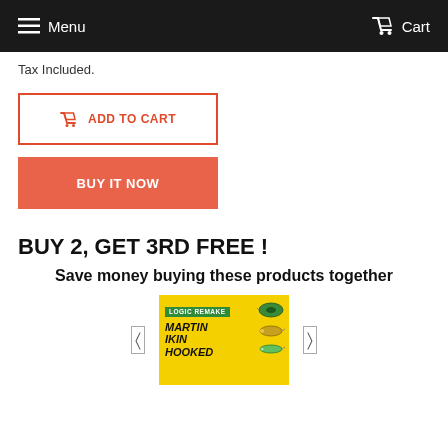Menu  Cart
Tax Included.
ADD TO CART
BUY IT NOW
BUY 2, GET 3RD FREE !
Save money buying these products together
[Figure (photo): Book cover for 'Hooked' by Martin Ikin, Logic Remake edition, yellow background with fishing lures]